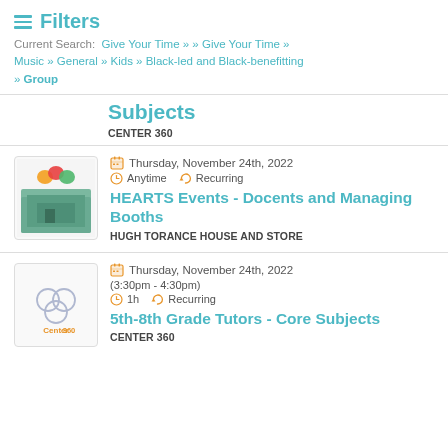≡ Filters
Current Search: Give Your Time » » Give Your Time » Music » General » Kids » Black-led and Black-benefitting » Group
5th-8th Grade Tutors – Core Subjects
CENTER 360
Thursday, November 24th, 2022 | Anytime | Recurring
HEARTS Events - Docents and Managing Booths
HUGH TORANCE HOUSE AND STORE
Thursday, November 24th, 2022 (3:30pm - 4:30pm) | 1h | Recurring
5th-8th Grade Tutors - Core Subjects
CENTER 360